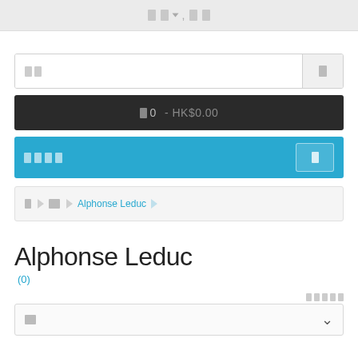□ □▼ , □ □
[Figure (screenshot): Search bar with text input field and search icon button]
[Figure (screenshot): Dark cart bar showing '□ 0 - HK$0.00']
[Figure (screenshot): Blue action bar with Chinese characters and a button icon]
[Figure (screenshot): Breadcrumb navigation bar: □ > □□ > Alphonse Leduc]
Alphonse Leduc
(0)
□□□□□
[Figure (screenshot): Dropdown selector bar with chevron icon]